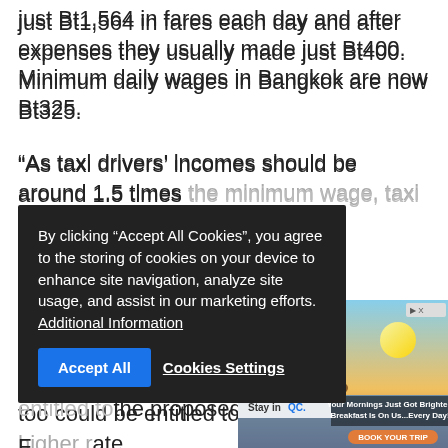just Bt1,564 in fares each day and after expenses they usually made just Bt400. Minimum daily wages in Bangkok are now Bt325.
“As taxi drivers’ incomes should be around 1.5 times the minimum wage, taxi fares should be raised,” he said.
He... not yet in the Taxi OK project should adjust themselves to comply with the project’s co... hat they too could be entitled to the proposed higher rate.
[Figure (screenshot): Cookie consent overlay with dark background: 'By clicking "Accept All Cookies", you agree to the storing of cookies on your device to enhance site navigation, analyze site usage, and assist in our marketing efforts. Additional Information' with 'Accept All' and 'Cookies Settings' buttons.]
F... until September 30 this year, authorities have received 48,223 complaints about taxi se...
Most o... fusing to take... ng,
[Figure (screenshot): Advertisement banner with beach/sunset scene. Text: 'Your Mornings Just Got Brighter! Breakfast Is On Us...Every Day!' with 'BOOK YOUR TRIP' button and 'Stay in QC' logo.]